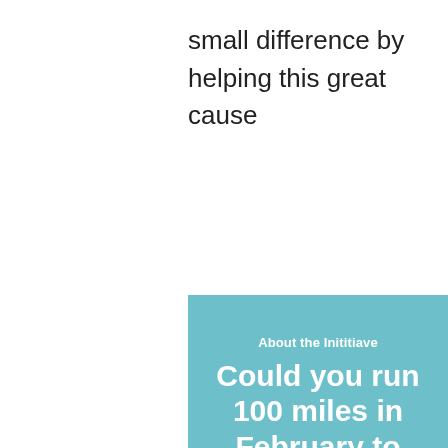small difference by helping this great cause
About the Inititiave
Could you run 100 miles in February to raise funds for patient care in the Mater Hospital?
It's a tough challenge, but it'll